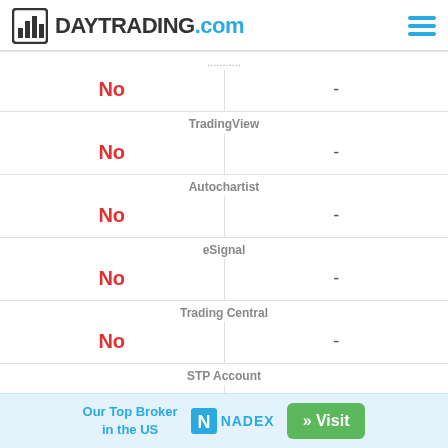DayTrading.com
|  |  |
| --- | --- |
| No | - |
| No | - |
| No | - |
| No | - |
| No | - |
| No | No |
Our Top Broker in the US | NADEX | » Visit